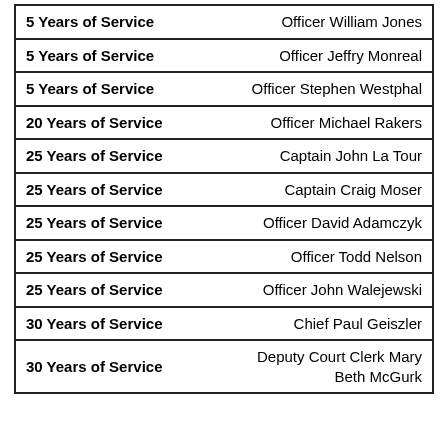| Years of Service | Name |
| --- | --- |
| 5 Years of Service | Officer William Jones |
| 5 Years of Service | Officer Jeffry Monreal |
| 5 Years of Service | Officer Stephen Westphal |
| 20 Years of Service | Officer Michael Rakers |
| 25 Years of Service | Captain John La Tour |
| 25 Years of Service | Captain Craig Moser |
| 25 Years of Service | Officer David Adamczyk |
| 25 Years of Service | Officer Todd Nelson |
| 25 Years of Service | Officer John Walejewski |
| 30 Years of Service | Chief Paul Geiszler |
| 30 Years of Service | Deputy Court Clerk Mary Beth McGurk |